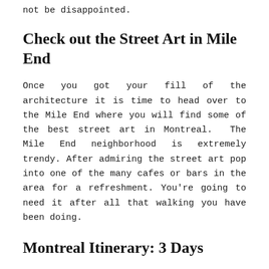not be disappointed.
Check out the Street Art in Mile End
Once you got your fill of the architecture it is time to head over to the Mile End where you will find some of the best street art in Montreal.  The Mile End neighborhood is extremely trendy. After admiring the street art pop into one of the many cafes or bars in the area for a refreshment. You're going to need it after all that walking you have been doing.
Montreal Itinerary: 3 Days